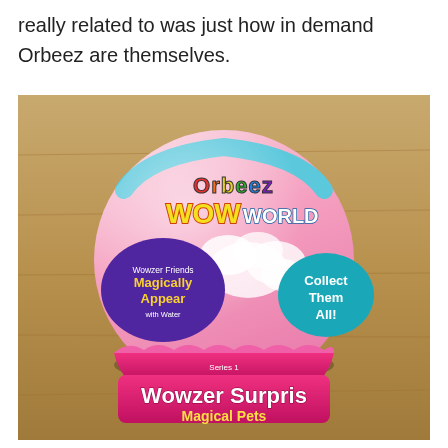really related to was just how in demand Orbeez are themselves.
[Figure (photo): Photo of an Orbeez Wow World Wowzer Surprise Magical Pets toy — a round snow-globe-style ball with pink base sitting on a wooden table. The ball has colorful branding: 'Orbeez' in rainbow letters at the top, 'WOW WORLD' in large yellow/white letters, a purple badge saying 'Wowzer Friends Magically Appear with Water', a teal badge saying 'Collect Them All!', and a pink base reading 'Series 1 Wowzer Surprise Magical Pets'.]